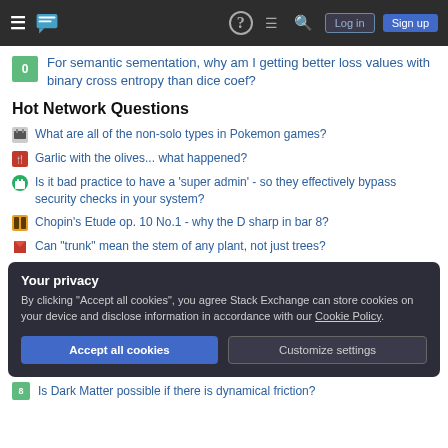Stack Exchange navigation bar with Log in and Sign up buttons
0  For semantic sementation, why am I getting better loss values with binary cross entropy than dice coef?
Hot Network Questions
What are all of the non-solo types in Pokemon games?
Garlic with the olives... what happened?
Is it bad practice to have a 'super admin' - so they effectively bypass security checks in your system?
Chopin's Etude op. 10 No.1 - why the D sharp in bar 8?
Can "trunk" mean the stem of any plant, not just trees?
Your privacy
By clicking "Accept all cookies", you agree Stack Exchange can store cookies on your device and disclose information in accordance with our Cookie Policy.
Is Dark Matter possible if there is dynamical friction?